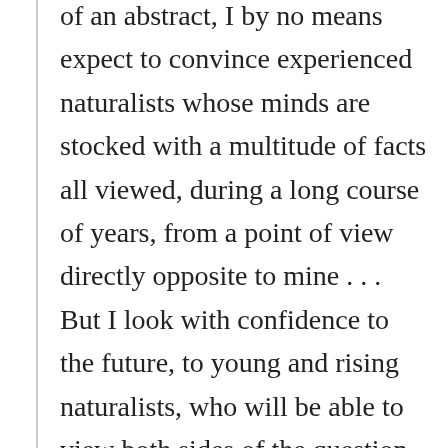of an abstract, I by no means expect to convince experienced naturalists whose minds are stocked with a multitude of facts all viewed, during a long course of years, from a point of view directly opposite to mine . . .  But I look with confidence to the future, to young and rising naturalists, who will be able to view both sides of the question with impartiality. Whoever is led to believe that species are mutable will do good service by conscientiously expressing his conviction; for only thus can the load of prejudice by which this subject is overwhelmed be removed.6